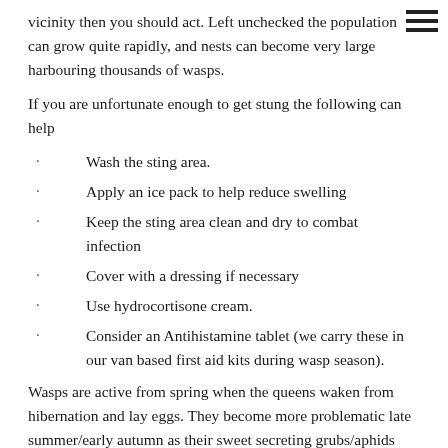vicinity then you should act. Left unchecked the population can grow quite rapidly, and nests can become very large harbouring thousands of wasps.
If you are unfortunate enough to get stung the following can help
Wash the sting area.
Apply an ice pack to help reduce swelling
Keep the sting area clean and dry to combat infection
Cover with a dressing if necessary
Use hydrocortisone cream.
Consider an Antihistamine tablet (we carry these in our van based first aid kits during wasp season).
Wasps are active from spring when the queens waken from hibernation and lay eggs. They become more problematic late summer/early autumn as their sweet secreting grubs/aphids grow